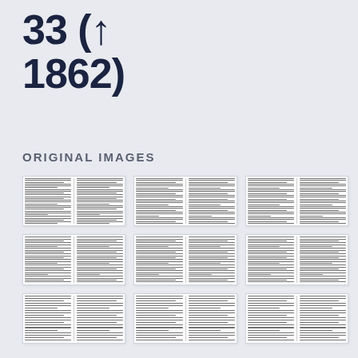33 ( 1862)
ORIGINAL IMAGES
[Figure (illustration): Grid of 9 thumbnail images showing scanned pages of historical legal documents from 1862, arranged in 3 rows of 3 columns. Each thumbnail shows dense multi-column text typical of 19th century newspaper or legal gazette formatting.]